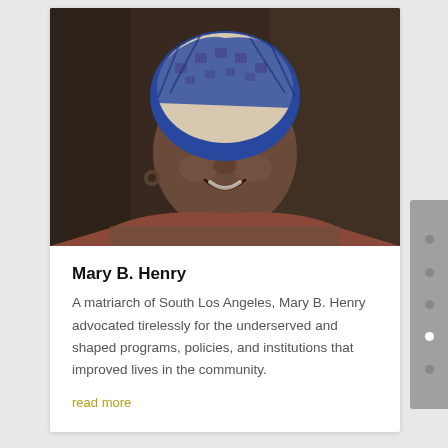[Figure (photo): Portrait photograph of Mary B. Henry, an older woman smiling warmly, wearing a colorful patterned headwrap and earrings, against a dark background.]
Mary B. Henry
A matriarch of South Los Angeles, Mary B. Henry advocated tirelessly for the underserved and shaped programs, policies, and institutions that improved lives in the community.
read more